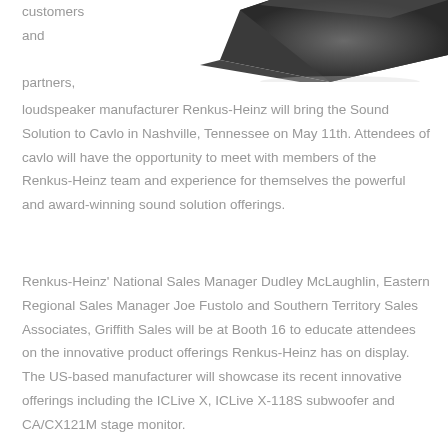[Figure (photo): Dark gray/black loudspeaker or audio equipment shown from above/side angle on white background, partially visible at top right of page]
customers and partners,
loudspeaker manufacturer Renkus-Heinz will bring the Sound Solution to Cavlo in Nashville, Tennessee on May 11th. Attendees of cavlo will have the opportunity to meet with members of the Renkus-Heinz team and experience for themselves the powerful and award-winning sound solution offerings.
Renkus-Heinz' National Sales Manager Dudley McLaughlin, Eastern Regional Sales Manager Joe Fustolo and Southern Territory Sales Associates, Griffith Sales will be at Booth 16 to educate attendees on the innovative product offerings Renkus-Heinz has on display. The US-based manufacturer will showcase its recent innovative offerings including the ICLive X, ICLive X-118S subwoofer and CA/CX121M stage monitor.